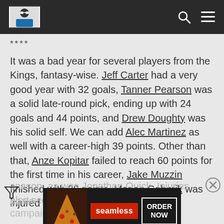[Site logo and navigation bar with search and menu icons]
****
It was a bad year for several players from the Kings, fantasy-wise. Jeff Carter had a very good year with 32 goals, Tanner Pearson was a solid late-round pick, ending up with 24 goals and 44 points, and Drew Doughty was his solid self. We can add Alec Martinez as well with a career-high 39 points. Other than that, Anze Kopitar failed to reach 60 points for the first time in his career, Jake Muzzin finished with 28 points, Marian Gaborik was injured most of the season, as was Jonathan Quick. Injuries also seemed to hamper... goals... campaign.
[Figure (other): Seamless food delivery advertisement banner with pizza image, red Seamless logo, and ORDER NOW button]